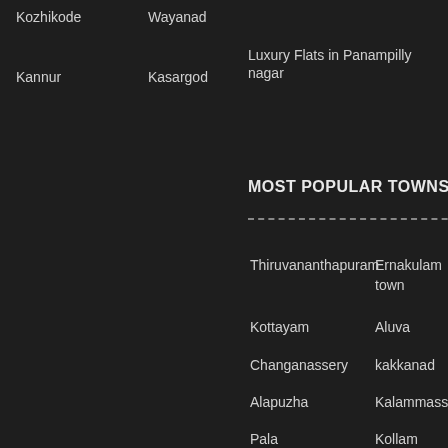Kozhikode
Wayanad
Luxury Flats in Panampilly nagar
Kannur
Kasargod
MOST POPULAR TOWNS
Thiruvananthapuram
Ernakulam town
Kottayam
Aluva
Changanassery
kakkanad
Alapuzha
Kalammassery
Pala
Kollam
Thiruvalla
Thripunithura
Neyyattinkara
+ More Towns